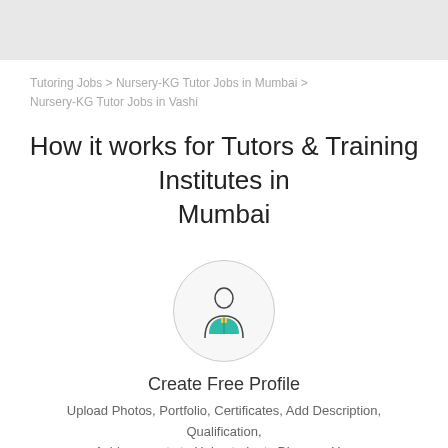Tutoring Jobs > Nursery-KG Tutor Jobs in Mumbai > Nursery-KG Tutor Jobs in Vashi
How it works for Tutors & Training Institutes in Mumbai
[Figure (illustration): Circular icon with a person/tutor silhouette wearing a teal shirt with a yellow badge]
Create Free Profile
Upload Photos, Portfolio, Certificates, Add Description, Qualification, Achievements to Help students Discover You
[Figure (illustration): Partially visible circular icon at the bottom of the page]